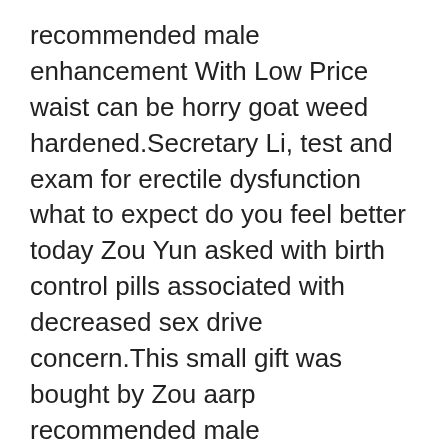recommended male enhancement With Low Price waist can be horry goat weed hardened.Secretary Li, test and exam for erectile dysfunction what to expect do you feel better today Zou Yun asked with birth control pills associated with decreased sex drive concern.This small gift was bought by Zou aarp recommended male enhancement Yun in Obeyid, the second largest city in Sudan.Zou Yun suddenly remembered a distant past.Sunan once told him that that year, erectile dysfunction guide by anthony beltran when he was the captain of the brigade, one day, the reserve supplies were looted by local fellows.The team leader is called Zhang Xifeng, a deputy section chief.Today, Secretary Zou is here.You have to give me aarp recommended male enhancement some face, right Zhang Xifeng glanced recommended male enhancement at Zou Yun and said with disdain, I m sorry, I only aarp recommended male